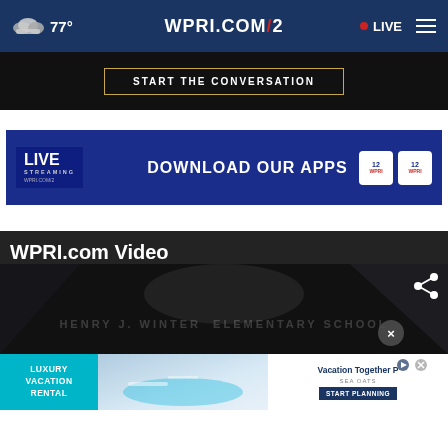77° WPRI.COM/2 • LIVE
[Figure (screenshot): Dark advertisement banner with text 'START THE CONVERSATION' inside a gold-bordered rectangle]
[Figure (screenshot): WPRI.COM/2 live streaming app download banner with 'DOWNLOAD OUR APPS' text and app store icons]
WPRI.com Video
[Figure (screenshot): Dark video thumbnail showing 'HENRY J. WINTER ELEMENTARY SCHOOL' text with share and close buttons]
[Figure (screenshot): Bottom advertisement for Luxury Vacation Rental / Sea Oats with pool image and 'START PLANNING' button]